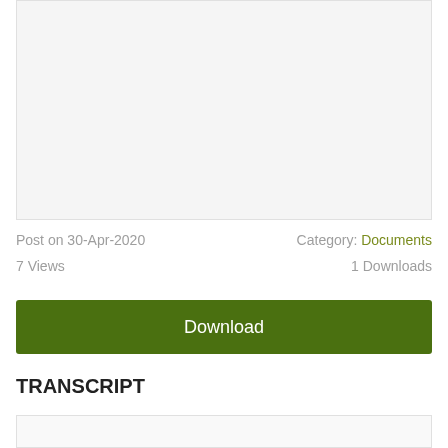[Figure (other): Light gray preview/thumbnail area]
Post on 30-Apr-2020
Category: Documents
7 Views
1 Downloads
Download
TRANSCRIPT